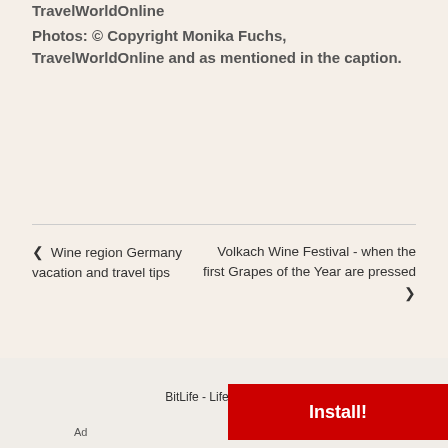TravelWorldOnline
Photos: © Copyright Monika Fuchs, TravelWorldOnline and as mentioned in the caption.
◀ Wine region Germany vacation and travel tips
Volkach Wine Festival - when the first Grapes of the Year are pressed ▶
You might also be interested
BitLife - Life Simulator
Ad
Install!